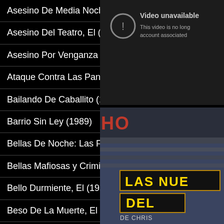Asesino De Media Noche (1993)
Asesino Del Teatro, El (1996)
Asesino Por Venganza (1993)
Ataque Contra Las Pandillas (1996)
Bailando De Caballito (1993)
Barrio Sin Ley (1989)
Bellas De Noche: Las Ficheras (1975)
Bellas Mafiosas y Criminales (1997)
Bello Durmiente, El (1952)
Beso De La Muerte, El
[Figure (screenshot): Video unavailable error message on dark background: 'Video unavailable. This video is no longer available because the account associated ...']
[Figure (screenshot): Movie thumbnail showing partial text 'HO' at top in red on a building sign, and 'LAS NUE' and 'DEL' in yellow bordered letters, with 'DE CHRIS' at bottom. Background shows a building facade in blue-gray tones.]